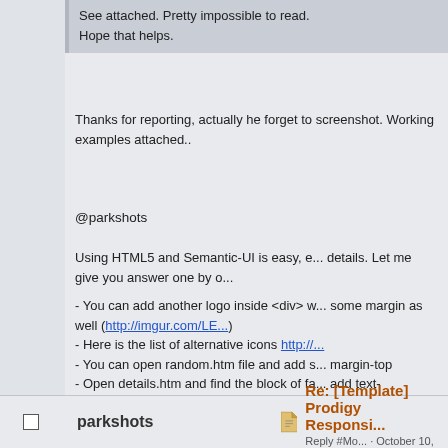See attached. Pretty impossible to read.
Hope that helps.
Thanks for reporting, actually he forget to screenshot. Working examples attached...
@parkshots
Using HTML5 and Semantic-UI is easy, e... details. Let me give you answer one by o...
- You can add another logo inside <div> w... some margin as well (http://imgur.com/LE...
- Here is the list of alternative icons http://...
- You can open random.htm file and add s... margin-top
- Open details.htm and find the block of fa... add text-align:center; to the card.
Digital Marketing Specialist
parkshots
Re: [Template] Prodigy Responsi...